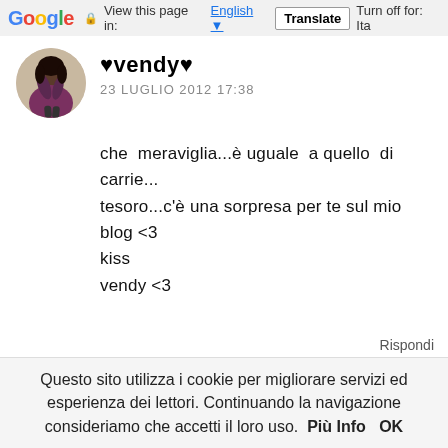Google  View this page in: English  Translate  Turn off for: Ita
[Figure (photo): Circular avatar photo of a person in a purple outfit]
♥vendy♥
23 LUGLIO 2012 17:38
che meraviglia...è uguale a quello di carrie...
tesoro...c'è una sorpresa per te sul mio blog <3
kiss
vendy <3
http://simplelifeve.blogspot.it/2012/07/che-sfilza-di-premi-xd.html
Rispondi
Questo sito utilizza i cookie per migliorare servizi ed esperienza dei lettori. Continuando la navigazione consideriamo che accetti il loro uso.  Più Info  OK